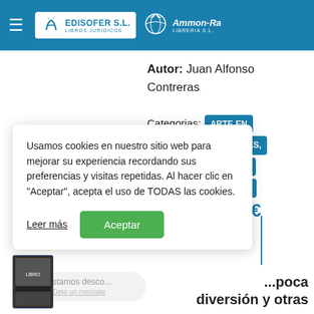EDISOFER S.L. LIBROS JURIDICOS | AMMON-RA LIBRERIA S.L.
Autor: Juan Alfonso Contreras
Categorias: ARTE EN GENERAL , COMARES, EDITORIAL , OBRAS GENERALES COMARES
€
Usamos cookies en nuestro sitio web para mejorar su experiencia recordando sus preferencias y visitas repetidas. Al hacer clic en "Aceptar", acepta el uso de TODAS las cookies.
Leer más
Aceptar
Estamos desco...
Deja un mensaje
...poca diversión y otras